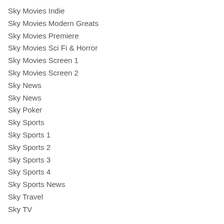Sky Movies Indie
Sky Movies Modern Greats
Sky Movies Premiere
Sky Movies Sci Fi & Horror
Sky Movies Screen 1
Sky Movies Screen 2
Sky News
Sky News
Sky Poker
Sky Sports
Sky Sports 1
Sky Sports 2
Sky Sports 3
Sky Sports 4
Sky Sports News
Sky Travel
Sky TV